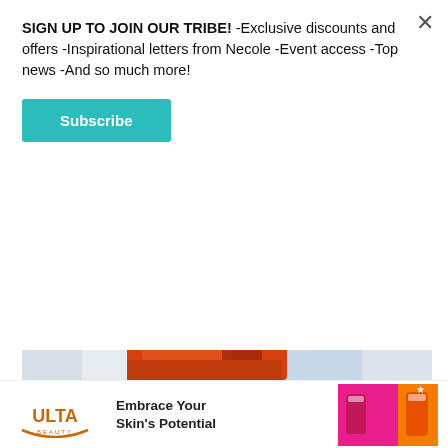SIGN UP TO JOIN OUR TRIBE! -Exclusive discounts and offers -Inspirational letters from Necole -Event access -Top news -And so much more!
Subscribe
[Figure (photo): Fashion photo showing red/orange and dark red garments against a white background, partially cropped]
Photo by Shahirah Ahme
[Figure (photo): Partially visible second photo with blue sky and tree]
[Figure (infographic): Ulta Beauty advertisement banner: Embrace Your Skin's Potential, with product images]